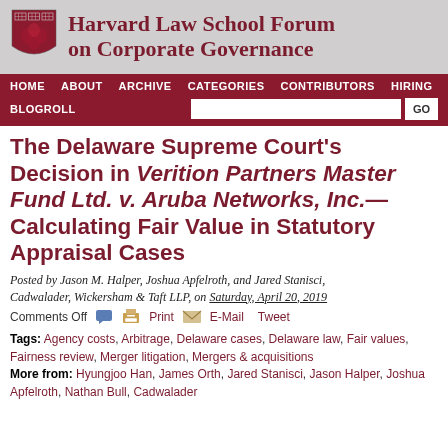[Figure (logo): Harvard Law School Forum on Corporate Governance header with Harvard shield logo and title text]
HOME   ABOUT   ARCHIVE   CATEGORIES   CONTRIBUTORS   HIRING   BLOGROLL
The Delaware Supreme Court's Decision in Verition Partners Master Fund Ltd. v. Aruba Networks, Inc.—Calculating Fair Value in Statutory Appraisal Cases
Posted by Jason M. Halper, Joshua Apfelroth, and Jared Stanisci, Cadwalader, Wickersham & Taft LLP, on Saturday, April 20, 2019
Comments Off   Print   E-Mail   Tweet
Tags: Agency costs, Arbitrage, Delaware cases, Delaware law, Fair values, Fairness review, Merger litigation, Mergers & acquisitions
More from: Hyungjoo Han, James Orth, Jared Stanisci, Jason Halper, Joshua Apfelroth, Nathan Bull, Cadwalader